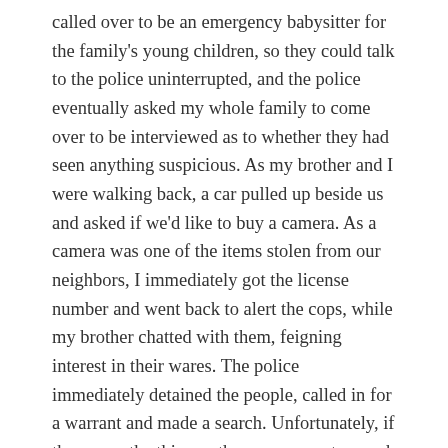called over to be an emergency babysitter for the family's young children, so they could talk to the police uninterrupted, and the police eventually asked my whole family to come over to be interviewed as to whether they had seen anything suspicious. As my brother and I were walking back, a car pulled up beside us and asked if we'd like to buy a camera. As a camera was one of the items stolen from our neighbors, I immediately got the license number and went back to alert the cops, while my brother chatted with them, feigning interest in their wares. The police immediately detained the people, called in for a warrant and made a search. Unfortunately, if they were the thieves, they were smart enough not to have the good on them.
Point is, simply trying to sell a camera on the street is not likely to get you stopped and searched by the police as a burglary suspect. But doing it a block away from a home from which a camera was stolen a few hours previously? Absolutely.
Maybe an attractive young woman like Robin would expect to be accosted in the streets of London regularly. But, in the aftermath of